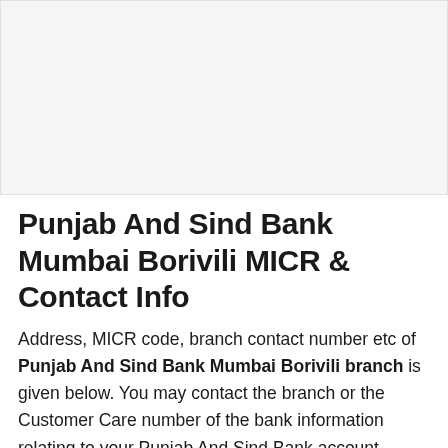[Figure (other): Image placeholder area at top of page, light grey background]
Punjab And Sind Bank Mumbai Borivili MICR & Contact Info
Address, MICR code, branch contact number etc of Punjab And Sind Bank Mumbai Borivili branch is given below. You may contact the branch or the Customer Care number of the bank information relating to your Punjab And Sind Bank account.